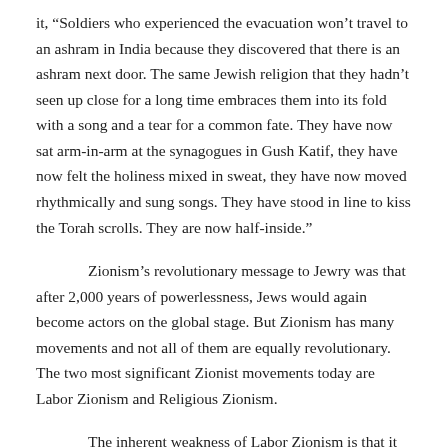it, “Soldiers who experienced the evacuation won’t travel to an ashram in India because they discovered that there is an ashram next door. The same Jewish religion that they hadn’t seen up close for a long time embraces them into its fold with a song and a tear for a common fate. They have now sat arm-in-arm at the synagogues in Gush Katif, they have now felt the holiness mixed in sweat, they have now moved rhythmically and sung songs. They have stood in line to kiss the Torah scrolls. They are now half-inside.”
Zionism’s revolutionary message to Jewry was that after 2,000 years of powerlessness, Jews would again become actors on the global stage. But Zionism has many movements and not all of them are equally revolutionary. The two most significant Zionist movements today are Labor Zionism and Religious Zionism.
The inherent weakness of Labor Zionism is that it was never aimed specifically at enabling Jews to be Jews. Rather, its purpose was to enable Jews to be socialists. Understanding that the anti-Semitic climate in Europe in the early 20th century rendered Jewish assimilation into a larger socialist